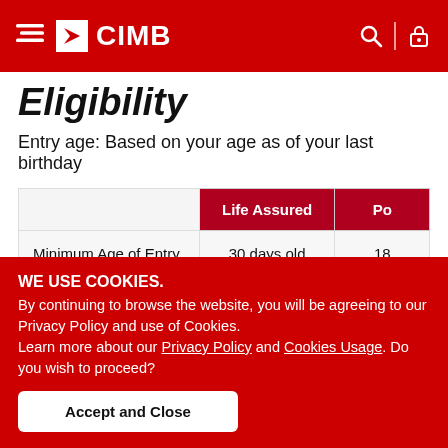CIMB
Eligibility
Entry age: Based on your age as of your last birthday
|  | Life Assured | Po... |
| --- | --- | --- |
| Minimum Age of Entry | 30 days old | 18... |
| Maximum Age of Entry | 65 years old |  |
| Maximum Expiry Age | 99 years old | Not... |
WE USE COOKIES.
By continuing to browse the website, you will be agreeing to our Privacy Policy and use of Cookies.
Learn more about our Privacy Policy and Cookies Usage. Do you wish to proceed?
Accept and Close